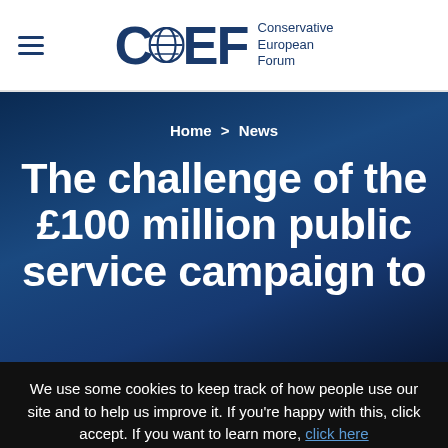[Figure (logo): Conservative European Forum logo with CEF letters and globe icon]
Home > News
The challenge of the £100 million public service campaign to
We use some cookies to keep track of how people use our site and to help us improve it. If you're happy with this, click accept. If you want to learn more, click here
Accept